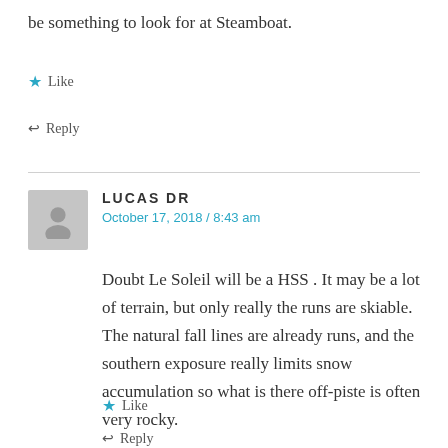be something to look for at Steamboat.
★ Like
↩ Reply
LUCAS DR
October 17, 2018 / 8:43 am
Doubt Le Soleil will be a HSS . It may be a lot of terrain, but only really the runs are skiable. The natural fall lines are already runs, and the southern exposure really limits snow accumulation so what is there off-piste is often very rocky.
★ Like
↩ Reply